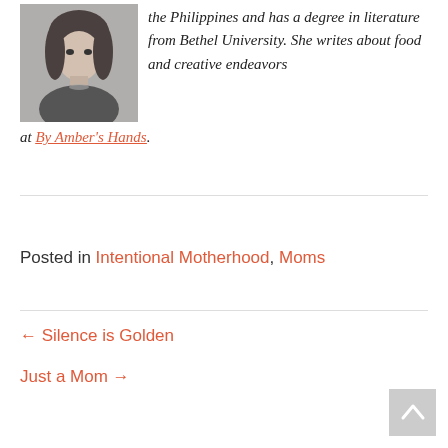[Figure (photo): Black and white portrait photo of a woman with curly hair]
the Philippines and has a degree in literature from Bethel University. She writes about food and creative endeavors at By Amber's Hands.
Posted in Intentional Motherhood, Moms
← Silence is Golden
Just a Mom →